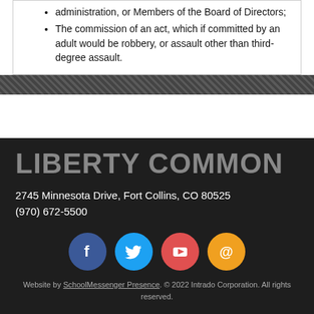administration, or Members of the Board of Directors;
The commission of an act, which if committed by an adult would be robbery, or assault other than third-degree assault.
LIBERTY COMMON
2745 Minnesota Drive, Fort Collins, CO 80525
(970) 672-5500
[Figure (infographic): Four social media icon circles: Facebook (blue), Twitter (light blue), YouTube (red), Email/at-sign (orange)]
Website by SchoolMessenger Presence. © 2022 Intrado Corporation. All rights reserved.